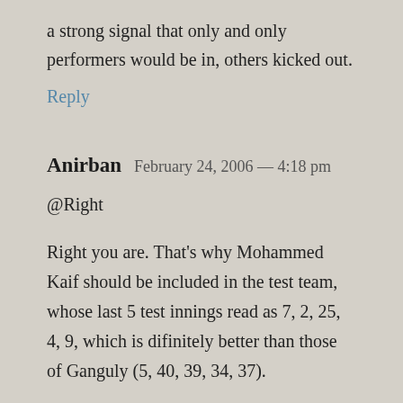a strong signal that only and only performers would be in, others kicked out.
Reply
Anirban  February 24, 2006 — 4:18 pm
@Right
Right you are. That’s why Mohammed Kaif should be included in the test team, whose last 5 test innings read as 7, 2, 25, 4, 9, which is difinitely better than those of Ganguly (5, 40, 39, 34, 37).